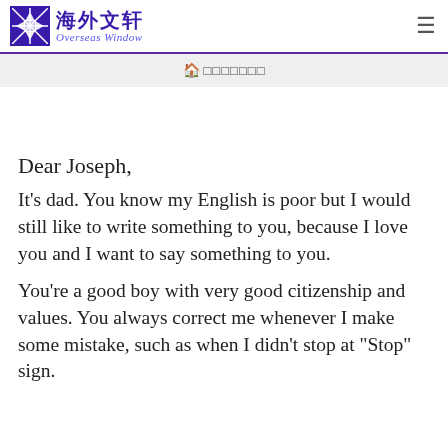海外文轩 Overseas Window
🏠 □□□□□□□
Dear Joseph,
It's dad. You know my English is poor but I would still like to write something to you, because I love you and I want to say something to you.
You're a good boy with very good citizenship and values. You always correct me whenever I make some mistake, such as when I didn't stop at "Stop" sign.